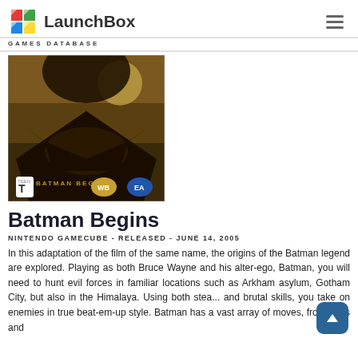LaunchBox GAMES DATABASE
[Figure (photo): Batman Begins game cover for Nintendo GameCube showing Batman logo and movie-style artwork with ESRB Teen rating, WB, and EA logos]
Batman Begins
NINTENDO GAMECUBE - RELEASED - JUNE 14, 2005
In this adaptation of the film of the same name, the origins of the Batman legend are explored. Playing as both Bruce Wayne and his alter-ego, Batman, you will need to hunt evil forces in familiar locations such as Arkham asylum, Gotham City, but also in the Himalaya. Using both stea... and brutal skills, you take on enemies in true beat-em-up style. Batman has a vast array of moves, from kicks and